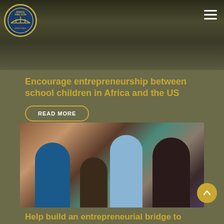[Figure (photo): Top banner photo showing people at an event, dark toned background]
[Figure (logo): Bridge Kingdom Ministries circular logo with golden border and bridge imagery]
Encourage entrepreneurship between school children in Africa and the US
READ MORE
[Figure (photo): Group of people standing and interacting at an indoor event; man in blue sweater, woman in light jacket with glasses, woman in dark floral dress with blue headband]
Help build an entrepreneurial bridge to